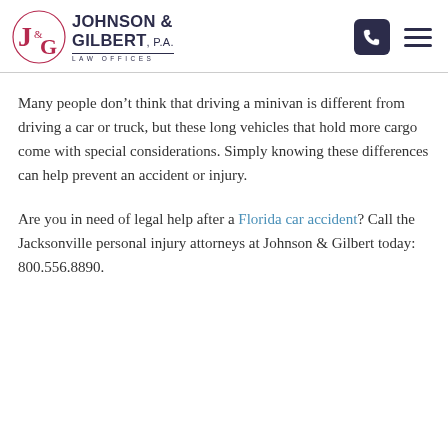Johnson & Gilbert, P.A. Law Offices
Many people don’t think that driving a minivan is different from driving a car or truck, but these long vehicles that hold more cargo come with special considerations. Simply knowing these differences can help prevent an accident or injury.
Are you in need of legal help after a Florida car accident? Call the Jacksonville personal injury attorneys at Johnson & Gilbert today: 800.556.8890.